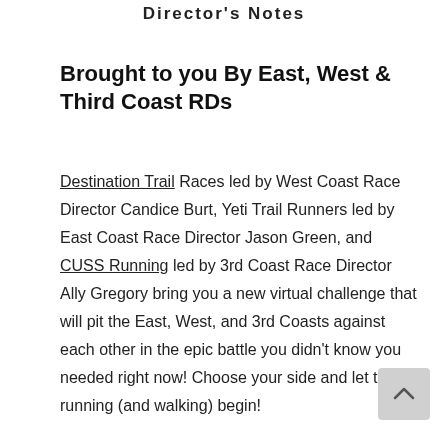Director's Notes
Brought to you By East, West & Third Coast RDs
Destination Trail Races led by West Coast Race Director Candice Burt, Yeti Trail Runners led by East Coast Race Director Jason Green, and CUSS Running led by 3rd Coast Race Director Ally Gregory bring you a new virtual challenge that will pit the East, West, and 3rd Coasts against each other in the epic battle you didn't know you needed right now! Choose your side and let the running (and walking) begin!